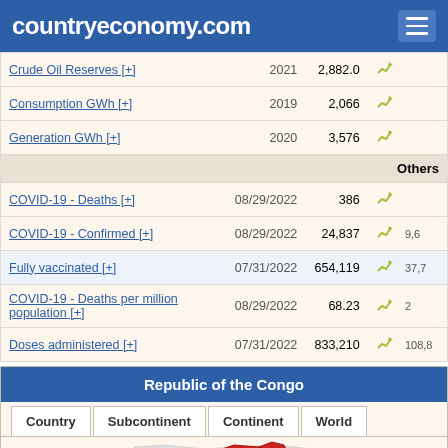countryeconomy.com
|  | Year | Value |  |  |
| --- | --- | --- | --- | --- |
| Crude Oil Reserves [+] | 2021 | 2,882.0 | chart |  |
| Consumption GWh [+] | 2019 | 2,066 | chart |  |
| Generation GWh [+] | 2020 | 3,576 | chart |  |
|  |  |  |  | Others |
| COVID-19 - Deaths [+] | 08/29/2022 | 386 | chart |  |
| COVID-19 - Confirmed [+] | 08/29/2022 | 24,837 | chart | 9,6 |
| Fully vaccinated [+] | 07/31/2022 | 654,119 | chart | 37,7 |
| COVID-19 - Deaths per million population [+] | 08/29/2022 | 68.23 | chart | 2 |
| Doses administered [+] | 07/31/2022 | 833,210 | chart | 108,8 |
Republic of the Congo
[Figure (map): Map showing the Republic of the Congo highlighted in red within the African continent context, with tabs for Country, Subcontinent, Continent, World]